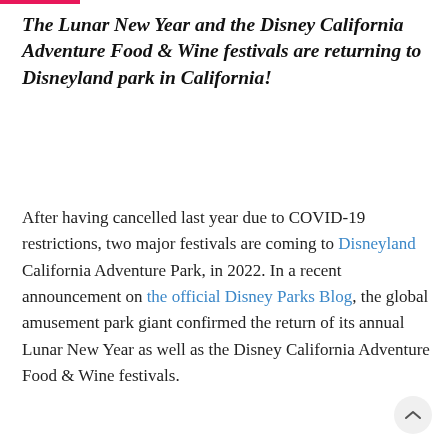The Lunar New Year and the Disney California Adventure Food & Wine festivals are returning to Disneyland park in California!
After having cancelled last year due to COVID-19 restrictions, two major festivals are coming to Disneyland California Adventure Park, in 2022. In a recent announcement on the official Disney Parks Blog, the global amusement park giant confirmed the return of its annual Lunar New Year as well as the Disney California Adventure Food & Wine festivals.